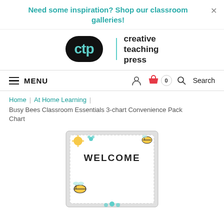Need some inspiration? Shop our classroom galleries!
creative teaching press — ctp logo
MENU
Home | At Home Learning
Busy Bees Classroom Essentials 3-chart Convenience Pack Chart
[Figure (photo): Product image showing a 'WELCOME' chart with busy bees theme, featuring bees and flowers on a grey bordered chart.]